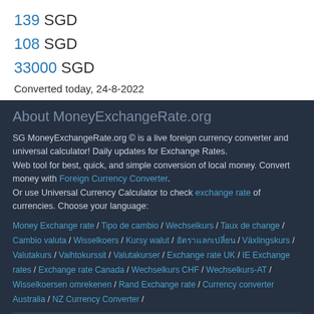139 SGD
108 SGD
33000 SGD
Converted today, 24-8-2022
About MoneyExchangeRate.org
SG MoneyExchangeRate.org © is a live foreign currency converter and universal calculator! Daily updates for Exchange Rates.
Web tool for best, quick, and simple conversion of local money. Convert money with Foreign Currency Converter.
Or use Universal Currency Calculator to check exchange rate of currencies. Choose your language:
Money Exchange rate / Tipo de cambio / Wechselkurs / Taux de change / Cambio valuta / Wisselkoers / Kursy walut / อัตราแลกเปลี่ยน / Växlingskurs / Valutakurs / Vaihtokurssit / Valutakurser / Exchange rate UK / IE Exchange rates / Exchange rate Canada / Wechselkurs CHF / Wechselkurs-AT / Wisselkoersen omrekenen / Rand Exchange rate / Currency converter Australia / NZ Currency Converter /
Privacy / About us / Contact us